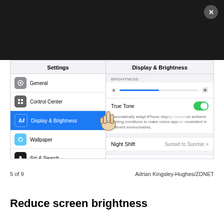[Figure (screenshot): iOS Settings screenshot showing Settings panel on left with General, Control Center, Display & Brightness (highlighted), Wallpaper, Siri & Search, Touch ID & Passcode, Emergency SOS, Battery items. Right panel shows Display & Brightness settings with brightness slider, True Tone toggle (on), Night Shift row, Auto-Lock row, and Raise to Wake row. A pointing hand cursor overlay is visible on the True Tone toggle area.]
5 of 9 Adrian Kingsley-Hughes/ZDNET
Reduce screen brightness